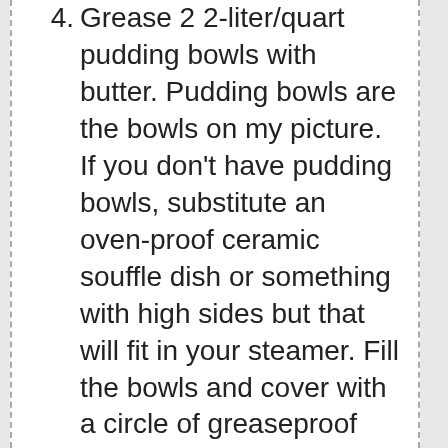4. Grease 2 2-liter/quart pudding bowls with butter. Pudding bowls are the bowls on my picture. If you don't have pudding bowls, substitute an oven-proof ceramic souffle dish or something with high sides but that will fit in your steamer. Fill the bowls and cover with a circle of greaseproof paper.
5. Steam the puddings for 6 hours and don't go too far because you'll need to add water roughly every hour. If your lids don't fit tightly (mine didn't), seal the lids with aluminum foil as tightly as you can so the steam doesn't escape - too much. I'm warning